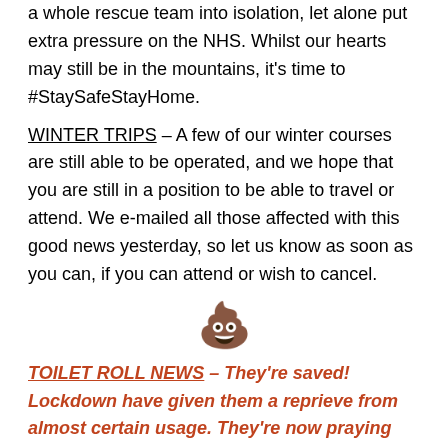a whole rescue team into isolation, let alone put extra pressure on the NHS. Whilst our hearts may still be in the mountains, it's time to #StaySafeStayHome.
WINTER TRIPS – A few of our winter courses are still able to be operated, and we hope that you are still in a position to be able to travel or attend. We e-mailed all those affected with this good news yesterday, so let us know as soon as you can, if you can attend or wish to cancel.
[Figure (other): Pile of poo emoji (💩)]
TOILET ROLL NEWS – They're saved! Lockdown have given them a reprieve from almost certain usage. They're now praying for a long lockdown. I don't like their smug attitude.